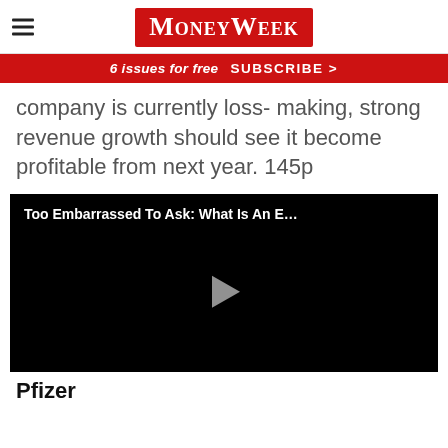MoneyWeek
6 issues for free   SUBSCRIBE >
company is currently loss- making, strong revenue growth should see it become profitable from next year. 145p
[Figure (screenshot): Video thumbnail with black background showing title 'Too Embarrassed To Ask: What Is An E...' and a play button in the center]
Pfizer